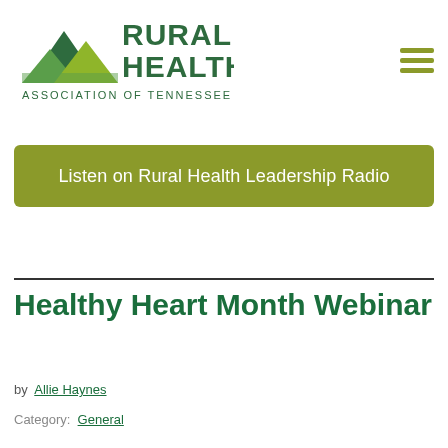[Figure (logo): Rural Health Association of Tennessee logo with green mountains/landscape icon and text]
Listen on Rural Health Leadership Radio
Healthy Heart Month Webinar
by  Allie Haynes
Category:  General